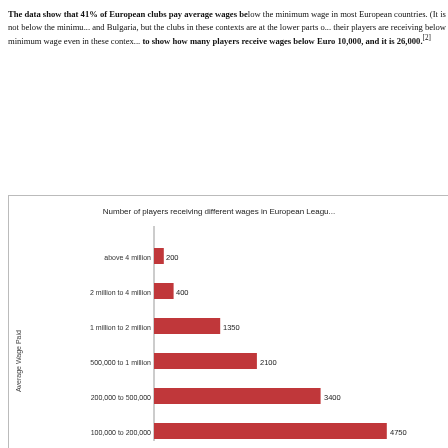The data show that 41% of European clubs pay average wages below the minimum wage in most European countries. (It is not below the minimum wage in all cases and Bulgaria, but the clubs in these contexts are at the lower parts of the wage scale, and their players are receiving below minimum wage even in these contexts.) We have decided to show how many players receive wages below Euro 10,000, and it is a large number: 26,000.[2]
[Figure (bar-chart): Number of players receiving different wages in European Leagu...]